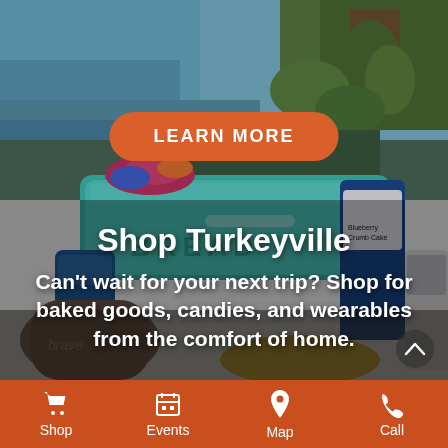[Figure (photo): Background photo of a teal vintage bread box with colorful floral items, coffee mug, coffee bags including Blueberry Crumb Cake, near a waterside setting with green foliage in background.]
LEARN MORE
Shop Turkeyville
Can't wait for your next trip? Shop for baked goods, candies, and wearables from the comfort of home.
Shop  Events  Map  Call